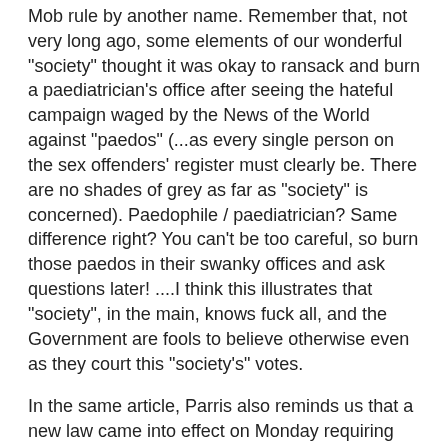Mob rule by another name. Remember that, not very long ago, some elements of our wonderful "society" thought it was okay to ransack and burn a paediatrician's office after seeing the hateful campaign waged by the News of the World against "paedos" (...as every single person on the sex offenders' register must clearly be. There are no shades of grey as far as "society" is concerned). Paedophile / paediatrician? Same difference right? You can't be too careful, so burn those paedos in their swanky offices and ask questions later! ....I think this illustrates that "society", in the main, knows fuck all, and the Government are fools to believe otherwise even as they court this "society's" votes.
In the same article, Parris also reminds us that a new law came into effect on Monday requiring fortune-tellers, clairvoyants, astrologers and mediums to stipulate explicitly that their services are for “entertainment only”. He rather mischievously points out that:
"Well, trades descriptions legislation is anciently established; but in the realms of the spirit, prophecy, invisible worlds, ghosts and human souls, it has generally been felt that the